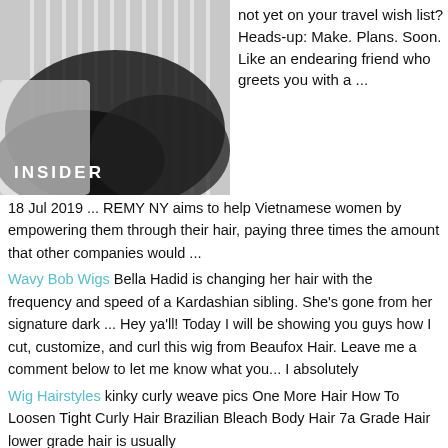[Figure (photo): A photo of hair/wig with black strands against white vertical rods, with 'INSIDER' text overlay at bottom left]
not yet on your travel wish list? Heads-up: Make. Plans. Soon. Like an endearing friend who greets you with a ...
18 Jul 2019 ... REMY NY aims to help Vietnamese women by empowering them through their hair, paying three times the amount that other companies would ...
Wavy Bob Wigs Bella Hadid is changing her hair with the frequency and speed of a Kardashian sibling. She's gone from her signature dark ... Hey ya'll! Today I will be showing you guys how I cut, customize, and curl this wig from Beaufox Hair. Leave me a comment below to let me know what you... I absolutely
Wig Hairstyles kinky curly weave pics One More Hair How To Loosen Tight Curly Hair Brazilian Bleach Body Hair 7a Grade Hair lower grade hair is usually